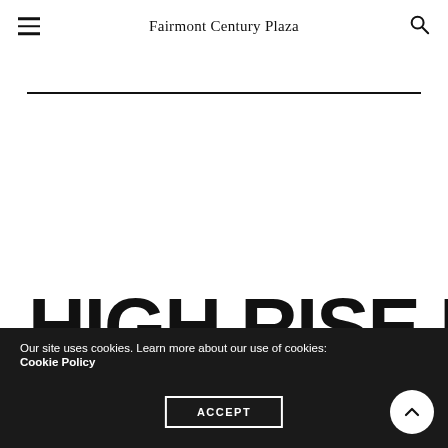Fairmont Century Plaza
HIGH RISE LIFE
Our site uses cookies. Learn more about our use of cookies: Cookie Policy
ACCEPT